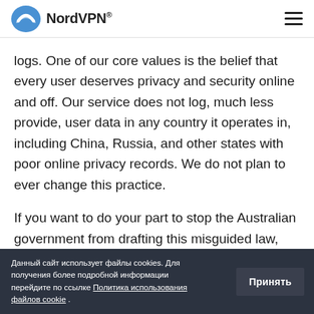NordVPN®
logs. One of our core values is the belief that every user deserves privacy and security online and off. Our service does not log, much less provide, user data in any country it operates in, including China, Russia, and other states with poor online privacy records. We do not plan to ever change this practice.
If you want to do your part to stop the Australian government from drafting this misguided law, click here to sign Access Now's online petition. In the
Данный сайт использует файлы cookies. Для получения более подробной информации перейдите по ссылке Политика использования файлов cookie .